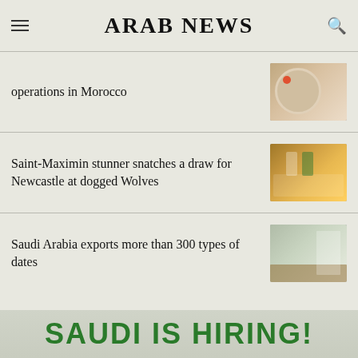ARAB NEWS
operations in Morocco
Saint-Maximin stunner snatches a draw for Newcastle at dogged Wolves
Saudi Arabia exports more than 300 types of dates
SAUDI IS HIRING!